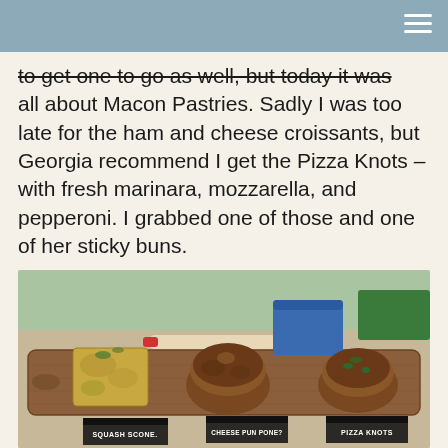to get one to go as well, but today it was all about Macon Pastries. Sadly I was too late for the ham and cheese croissants, but Georgia recommend I get the Pizza Knots – with fresh marinara, mozzarella, and pepperoni. I grabbed one of those and one of her sticky buns.
[Figure (photo): Photo of three baked goods displayed on a wooden serving board at an outdoor market. From left to right: a square pastry labeled 'Squash Scone', a round muffin-style pastry labeled 'Cheese Pun Pone?' (or similar), and a round pastry labeled 'Pizza Knots'. A rolling pin with red handles is visible in the background along with a blue container.]